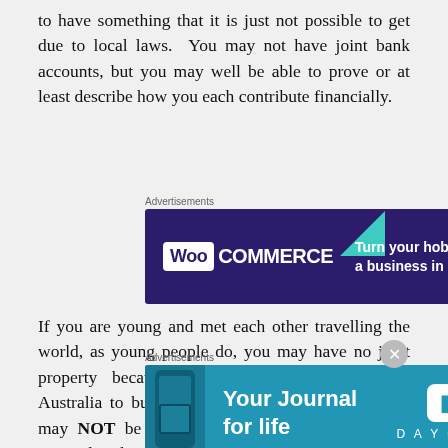to have something that it is just not possible to get due to local laws.  You may not have joint bank accounts, but you may well be able to prove or at least describe how you each contribute financially.
[Figure (other): WooCommerce advertisement banner: 'Turn your hobby into a business in 8 steps' on dark purple background with decorative shapes]
If you are young and met each other travelling the world, as young people do, you may have no joint property because you haven't yet returned to Australia to buy any together.  Explain that.  You may NOT be young!  I know of a couple who married in their later years, after meeting up again in later life.  You may keep assets separate becaus
[Figure (other): Day One journal app advertisement: 'Your Journal for life' on blue background with phone image]